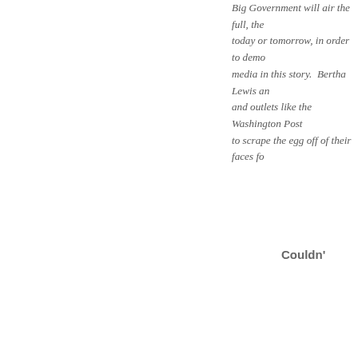Big Government will air the full, unedited video today or tomorrow, in order to demonstrate the media in this story. Bertha Lewis and outlets like the Washington Post to scrape the egg off of their faces fo
Couldn'